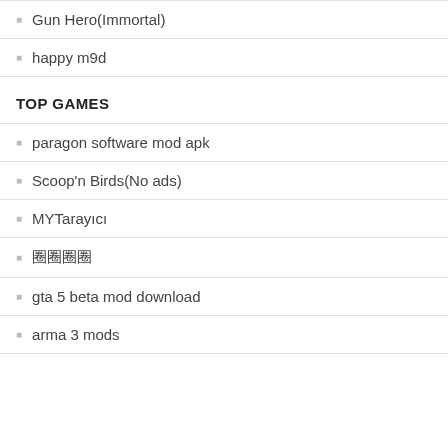Gun Hero(Immortal)
happy m9d
TOP GAMES
paragon software mod apk
Scoop'n Birds(No ads)
MYTarayıcı
圈圈圈圈
gta 5 beta mod download
arma 3 mods